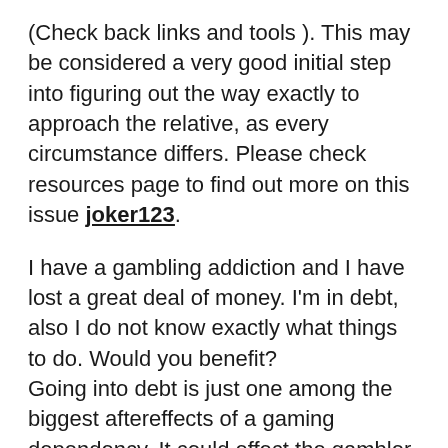(Check back links and tools ). This may be considered a very good initial step into figuring out the way exactly to approach the relative, as every circumstance differs. Please check resources page to find out more on this issue joker123.
I have a gambling addiction and I have lost a great deal of money. I'm in debt, also I do not know exactly what things to do. Would you benefit? Going into debt is just one among the biggest aftereffects of a gaming dependency. It could effect the gambler after she or he quits gambling and is among the long-term consequences of betting dependence. After you enroll in an Gamblers Unknown 12 step group-you can seek out aid from reputable associates on just how best to deal with the